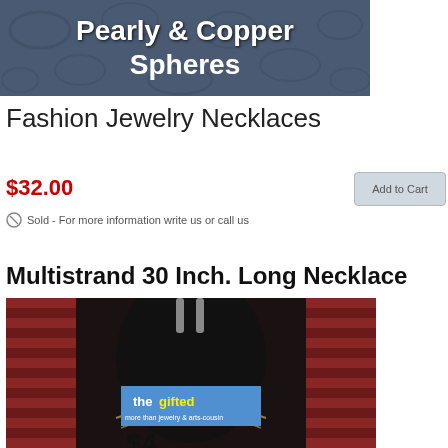[Figure (photo): Decorative banner with dark blue-grey paisley background pattern and white bold text reading 'Pearly & Copper Spheres']
Fashion Jewelry Necklaces
$32.00
Add to Cart
Sold - For more information write us or call us
Multistrand 30 Inch. Long Necklace
[Figure (photo): Product photo of a multistrand necklace on a dark mannequin against a red patterned backdrop, with a 'thegifted - more than jewelry & arts-cousin' logo overlay, and partially visible price at the bottom]